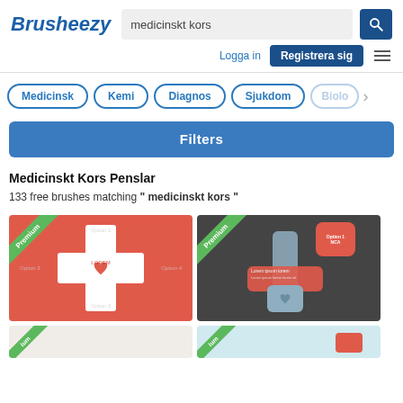Brusheezy
medicinskt kors
Logga in   Registrera sig
Medicinsk
Kemi
Diagnos
Sjukdom
Biolo…
Filters
Medicinskt Kors Penslar
133 free brushes matching " medicinskt kors "
[Figure (screenshot): Red background medical cross infographic template with Premium badge, white cross shape containing heart icon, option labels]
[Figure (screenshot): Dark grey background medical cross graphic with Premium badge, overlapping red and grey cross shapes, card elements]
[Figure (screenshot): Partial bottom-left thumbnail with Premium badge, light background]
[Figure (screenshot): Partial bottom-right thumbnail with Premium badge, light blue/teal background]